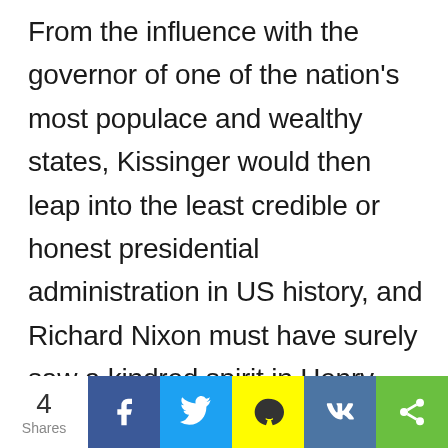From the influence with the governor of one of the nation's most populace and wealthy states, Kissinger would then leap into the least credible or honest presidential administration in US history, and Richard Nixon must have surely saw a kindred spirit in Henry — he made him National Security Advisor in 1969.
4 Shares